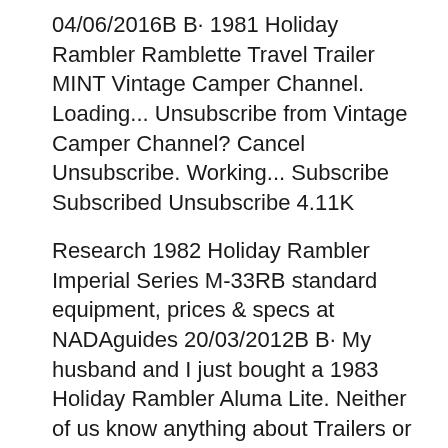04/06/2016B B· 1981 Holiday Rambler Ramblette Travel Trailer MINT Vintage Camper Channel. Loading... Unsubscribe from Vintage Camper Channel? Cancel Unsubscribe. Working... Subscribe Subscribed Unsubscribe 4.11K
Research 1982 Holiday Rambler Imperial Series M-33RB standard equipment, prices & specs at NADAguides 20/03/2012B B· My husband and I just bought a 1983 Holiday Rambler Aluma Lite. Neither of us know anything about Trailers or RV's. We are now trying to redo it considering it isn't in the best shape. We also are looking into a vehicle to pull it. From what I have gathered so far, it may or may not weight 4000lbs. I think we will be purchasing an anti sway bar